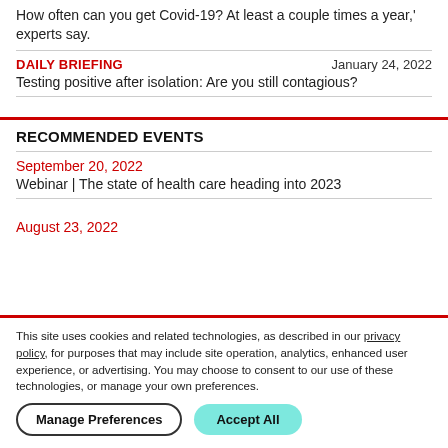How often can you get Covid-19? At least a couple times a year,' experts say.
DAILY BRIEFING    January 24, 2022
Testing positive after isolation: Are you still contagious?
RECOMMENDED EVENTS
September 20, 2022
Webinar | The state of health care heading into 2023
August 23, 2022
This site uses cookies and related technologies, as described in our privacy policy, for purposes that may include site operation, analytics, enhanced user experience, or advertising. You may choose to consent to our use of these technologies, or manage your own preferences.